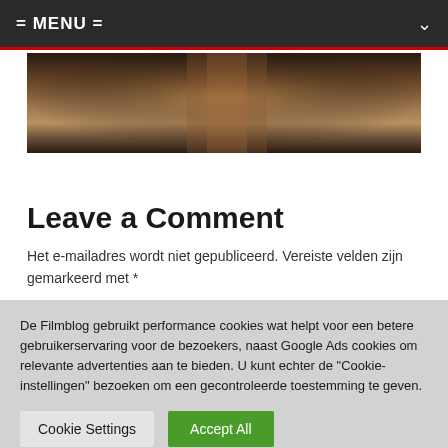= MENU =
[Figure (photo): Dark atmospheric photo showing a figure in warm brown/amber tones, partial view of a person against a dark background]
Leave a Comment
Het e-mailadres wordt niet gepubliceerd. Vereiste velden zijn gemarkeerd met *
De Filmblog gebruikt performance cookies wat helpt voor een betere gebruikerservaring voor de bezoekers, naast Google Ads cookies om relevante advertenties aan te bieden. U kunt echter de "Cookie-instellingen" bezoeken om een gecontroleerde toestemming te geven.